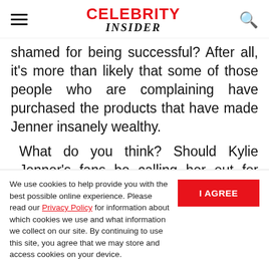Celebrity Insider
shamed for being successful? After all, it's more than likely that some of those people who are complaining have purchased the products that have made Jenner insanely wealthy.
What do you think? Should Kylie Jenner's fans be calling her out for spending her own money?
New episodes of Keeping Up With the
We use cookies to help provide you with the best possible online experience. Please read our Privacy Policy for information about which cookies we use and what information we collect on our site. By continuing to use this site, you agree that we may store and access cookies on your device.